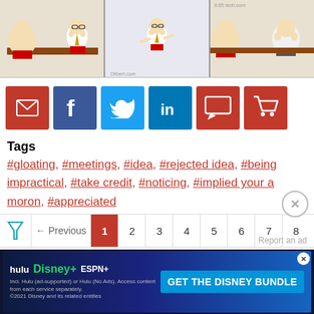[Figure (illustration): Three-panel Dilbert comic strip showing characters in a meeting]
[Figure (infographic): Social sharing buttons: email (red), Facebook (blue), Twitter (light blue), LinkedIn (dark blue), comment (red), cart (red)]
Tags
#gloating, #meetings, #idea, #rejected idea, #being impractical, #take credit, #noticing, #implied your a moron, #appreciated
View Transcript
[Figure (screenshot): Pagination bar showing Previous arrow, pages 1 (active/red), 2, 3, 4, 5, 6, 7, 8 and filter icon]
[Figure (infographic): Disney Bundle advertisement banner with Hulu, Disney+, ESPN+ logos and GET THE DISNEY BUNDLE CTA]